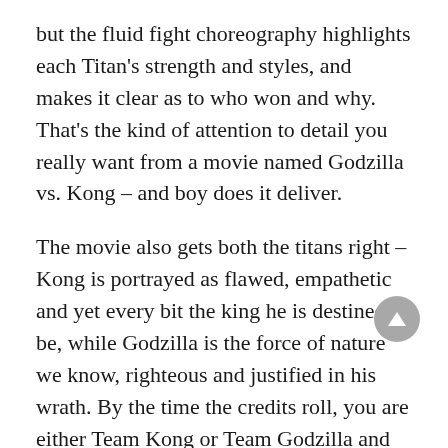but the fluid fight choreography highlights each Titan's strength and styles, and makes it clear as to who won and why. That's the kind of attention to detail you really want from a movie named Godzilla vs. Kong – and boy does it deliver.
The movie also gets both the titans right – Kong is portrayed as flawed, empathetic and yet every bit the king he is destined to be, while Godzilla is the force of nature we know, righteous and justified in his wrath. By the time the credits roll, you are either Team Kong or Team Godzilla and that's the movie's greatest strength.
Like the other three installments, Godzilla vs. Kong is a cinematic experience best enjoyed on the largest screen possible, and works best when it keeps the